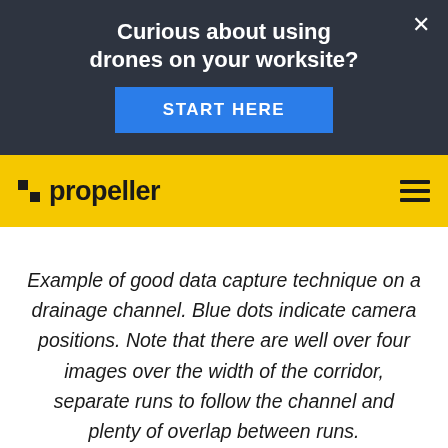Curious about using drones on your worksite?
START HERE
[Figure (logo): Propeller logo on yellow navigation bar with hamburger menu icon]
Example of good data capture technique on a drainage channel. Blue dots indicate camera positions. Note that there are well over four images over the width of the corridor, separate runs to follow the channel and plenty of overlap between runs.